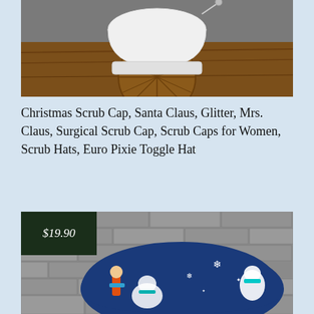[Figure (photo): A white scrub cap / surgical hat displayed on a wooden decorative surface with carved sunburst pattern, against a brick wall background.]
Christmas Scrub Cap, Santa Claus, Glitter, Mrs. Claus, Surgical Scrub Cap, Scrub Caps for Women, Scrub Hats, Euro Pixie Toggle Hat
[Figure (photo): A blue scrub cap with polar bear and snowflake winter holiday print, displayed against a grey brick wall background. A dark green price badge overlay shows $19.90.]